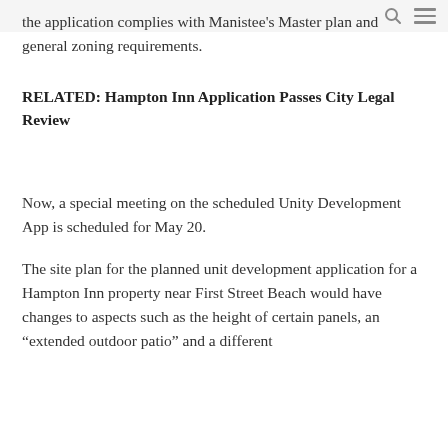the application complies with Manistee's Master plan and general zoning requirements.
RELATED: Hampton Inn Application Passes City Legal Review
Now, a special meeting on the scheduled Unity Development App is scheduled for May 20.
The site plan for the planned unit development application for a Hampton Inn property near First Street Beach would have changes to aspects such as the height of certain panels, an “extended outdoor patio” and a different